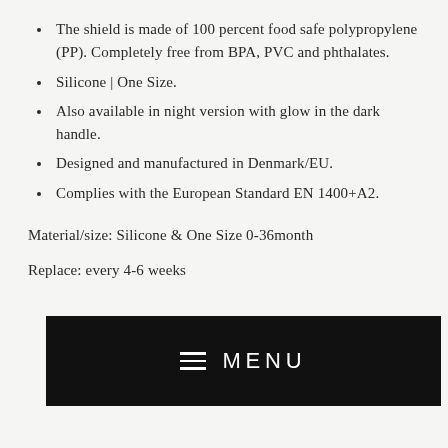The shield is made of 100 percent food safe polypropylene (PP). Completely free from BPA, PVC and phthalates.
Silicone | One Size.
Also available in night version with glow in the dark handle.
Designed and manufactured in Denmark/EU.
Complies with the European Standard EN 1400+A2.
Material/size: Silicone & One Size 0-36month
Replace: every 4-6 weeks
[Figure (screenshot): Black menu bar with hamburger icon and MENU label in white text]